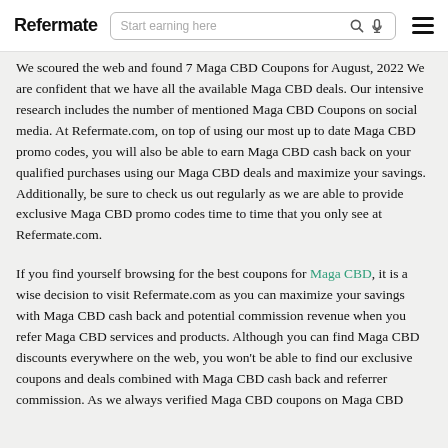Refermate | Start earning here
We scoured the web and found 7 Maga CBD Coupons for August, 2022 We are confident that we have all the available Maga CBD deals. Our intensive research includes the number of mentioned Maga CBD Coupons on social media. At Refermate.com, on top of using our most up to date Maga CBD promo codes, you will also be able to earn Maga CBD cash back on your qualified purchases using our Maga CBD deals and maximize your savings. Additionally, be sure to check us out regularly as we are able to provide exclusive Maga CBD promo codes time to time that you only see at Refermate.com.
If you find yourself browsing for the best coupons for Maga CBD, it is a wise decision to visit Refermate.com as you can maximize your savings with Maga CBD cash back and potential commission revenue when you refer Maga CBD services and products. Although you can find Maga CBD discounts everywhere on the web, you won't be able to find our exclusive coupons and deals combined with Maga CBD cash back and referrer commission. As we always verified Maga CBD coupons on Maga CBD...